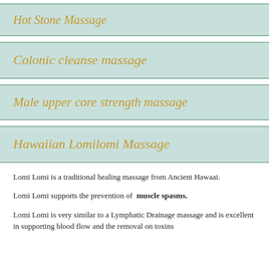Hot Stone Massage
Colonic cleanse massage
Male upper core strength massage
Hawaiian Lomilomi Massage
Lomi Lomi is a traditional healing massage from Ancient Hawaai.
Lomi Lomi supports the prevention of muscle spasms.
Lomi Lomi is very similar to a Lymphatic Drainage massage and is excellent in supporting blood flow and the removal on toxins